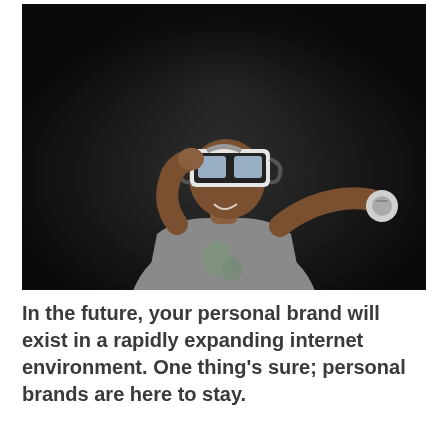[Figure (photo): A young man wearing a VR headset, looking upward with a smile, holding a VR controller in his outstretched right hand. He is wearing a grey t-shirt. The background is dark/black studio setting.]
In the future, your personal brand will exist in a rapidly expanding internet environment. One thing’s sure; personal brands are here to stay.